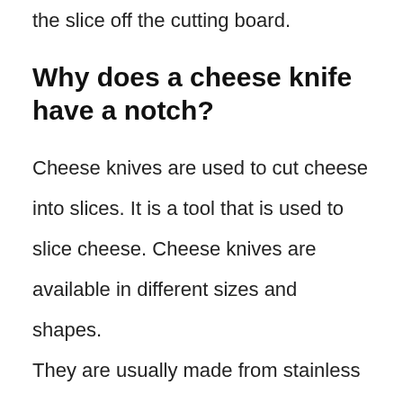the slice off the cutting board.
Why does a cheese knife have a notch?
Cheese knives are used to cut cheese into slices. It is a tool that is used to slice cheese. Cheese knives are available in different sizes and shapes. They are usually made from stainless